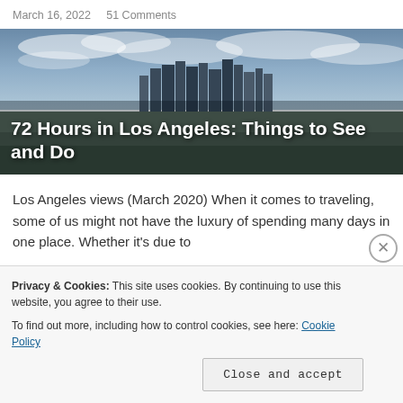March 16, 2022    51 Comments
[Figure (photo): Aerial panoramic view of Los Angeles skyline with downtown skyscrapers visible through partly cloudy sky, city sprawl visible in foreground]
72 Hours in Los Angeles: Things to See and Do
Los Angeles views (March 2020) When it comes to traveling, some of us might not have the luxury of spending many days in one place. Whether it's due to
Privacy & Cookies: This site uses cookies. By continuing to use this website, you agree to their use.
To find out more, including how to control cookies, see here: Cookie Policy
Close and accept